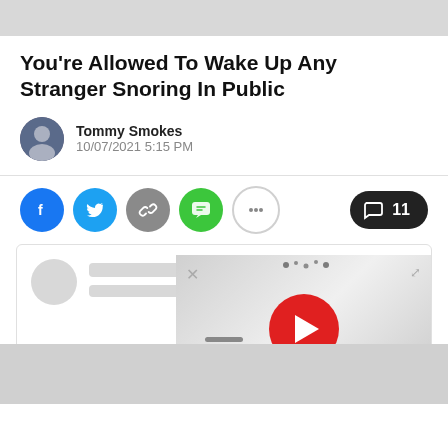You're Allowed To Wake Up Any Stranger Snoring In Public
Tommy Smokes
10/07/2021 5:15 PM
Share buttons: Facebook, Twitter, Link, SMS, More. Comments: 11
[Figure (screenshot): Embedded social media post card with skeleton loader (avatar circle and gray placeholder lines), overlaid by a video player popup showing a red play button on a gray background with X close and expand icons.]